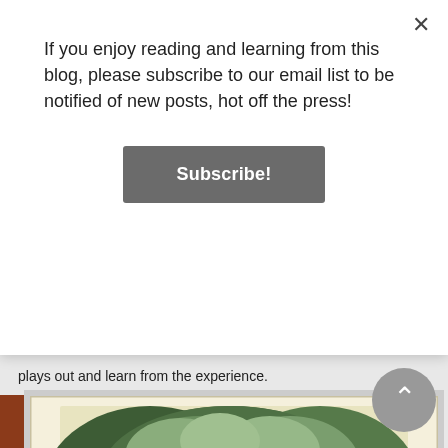If you enjoy reading and learning from this blog, please subscribe to our email list to be notified of new posts, hot off the press!
Subscribe!
plays out and learn from the experience.
[Figure (illustration): Vintage illustration of the Cheshire Cat from Alice in Wonderland, sitting and grinning in a tree, with text below reading: 'Would you tell me, please, which way I ought to go from']